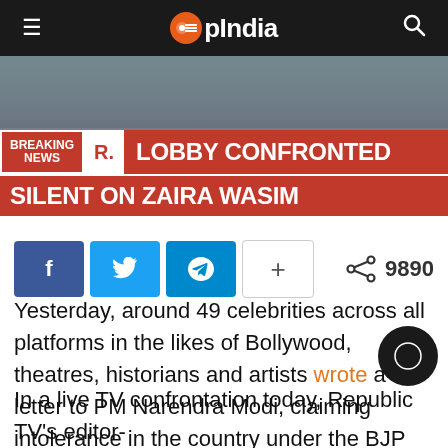OpIndia
[Figure (screenshot): Breaking news chyron: 'BREAKING NEWS R. LOBBY CONFRONTED SILENT ON ZAIRA WASIM' on a red banner, with TV studio background]
f (Facebook share) | Twitter share | Telegram share | + more | 9890 shares
Yesterday, around 49 celebrities across all platforms in the likes of Bollywood, theatres, historians and artists wrote a letter to PM Narendra Modi, claiming intolerance in the country under the BJP regin
In a live TV confrontation today, Republic TV's editor-